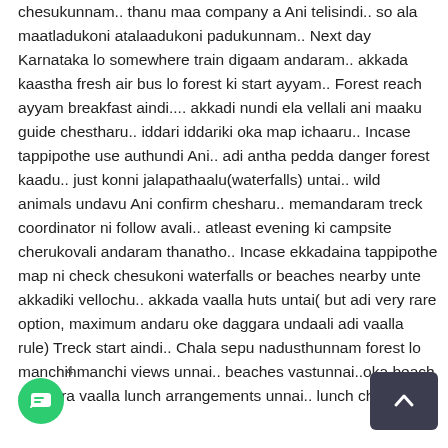chesukunnam.. thanu maa company a Ani telisindi.. so ala maatladukoni atalaadukoni padukunnam.. Next day Karnataka lo somewhere train digaam andaram.. akkada kaastha fresh air bus lo forest ki start ayyam.. Forest reach ayyam breakfast aindi.... akkadi nundi ela vellali ani maaku guide chestharu.. iddari iddariki oka map ichaaru.. Incase tappipothe use authundi Ani.. adi antha pedda danger forest kaadu.. just konni jalapathaalu(waterfalls) untai.. wild animals undavu Ani confirm chesharu.. memandaram treck coordinator ni follow avali.. atleast evening ki campsite cherukovali andaram thanatho.. Incase ekkadaina tappipothe map ni check chesukoni waterfalls or beaches nearby unte akkadiki vellochu.. akkada vaalla huts untai( but adi very rare option, maximum andaru oke daggara undaali adi vaalla rule) Treck start aindi.. Chala sepu nadusthunnam forest lo manchinmanchi views unnai.. beaches vastunnai..oka beach daggara vaalla lunch arrangements unnai.. lunch chesesam..
[Figure (other): Green circular chat/message button at bottom-left corner]
[Figure (other): Dark scroll-to-top button with upward arrow at bottom-right corner]